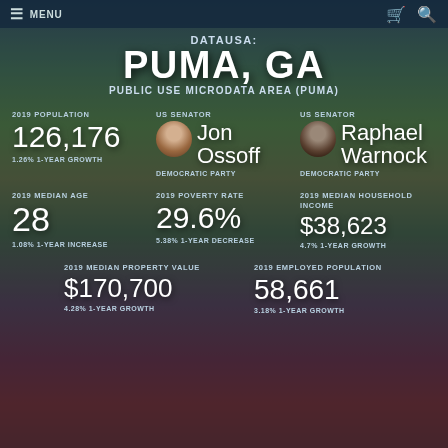CLARKE COUNTY ATHENS CITY
DATAUSA: PUMA, GA
PUBLIC USE MICRODATA AREA (PUMA)
2019 POPULATION
126,176
1.26% 1-YEAR GROWTH
US SENATOR
Jon Ossoff
DEMOCRATIC PARTY
US SENATOR
Raphael Warnock
DEMOCRATIC PARTY
2019 MEDIAN AGE
28
1.08% 1-YEAR INCREASE
2019 POVERTY RATE
29.6%
5.38% 1-YEAR DECREASE
2019 MEDIAN HOUSEHOLD INCOME
$38,623
4.7% 1-YEAR GROWTH
2019 MEDIAN PROPERTY VALUE
$170,700
4.28% 1-YEAR GROWTH
2019 EMPLOYED POPULATION
58,661
3.18% 1-YEAR GROWTH